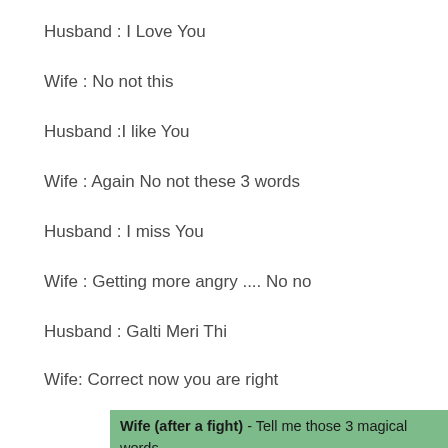Husband : I Love You
Wife : No not this
Husband :I like You
Wife : Again No not these 3 words
Husband : I miss You
Wife : Getting more angry .... No no
Husband : Galti Meri Thi
Wife: Correct now you are right
Wife (after a fight) - Tell me those 3 magical words.
Husband : I love you.